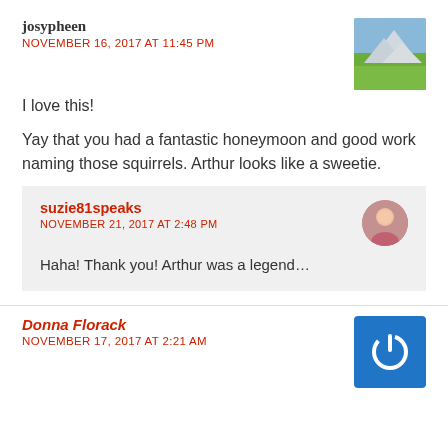josypheen
NOVEMBER 16, 2017 AT 11:45 PM
I love this!
Yay that you had a fantastic honeymoon and good work naming those squirrels. Arthur looks like a sweetie.
suzie81speaks
NOVEMBER 21, 2017 AT 2:48 PM
Haha! Thank you! Arthur was a legend…
Donna Florack
NOVEMBER 17, 2017 AT 2:21 AM